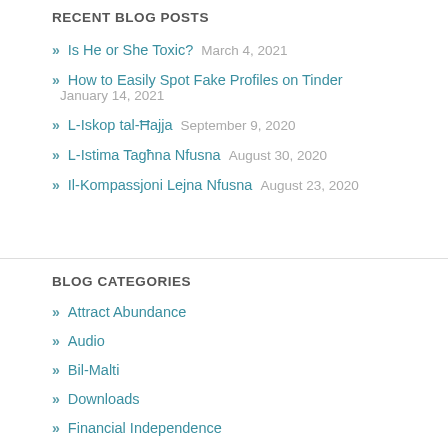RECENT BLOG POSTS
Is He or She Toxic?  March 4, 2021
How to Easily Spot Fake Profiles on Tinder  January 14, 2021
L-Iskop tal-Ħajja  September 9, 2020
L-Istima Tagħna Nfusna  August 30, 2020
Il-Kompassjoni Lejna Nfusna  August 23, 2020
BLOG CATEGORIES
Attract Abundance
Audio
Bil-Malti
Downloads
Financial Independence